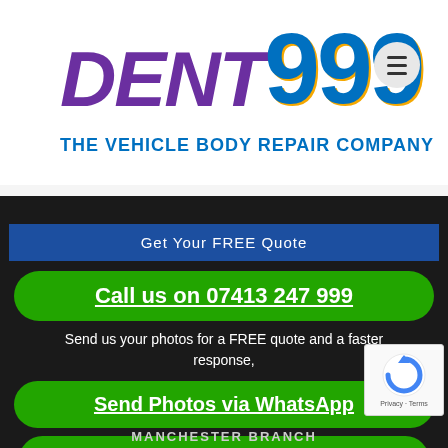[Figure (logo): DENT 999 logo — 'DENT' in purple italic bold, '999' in large blue bold with gold shadow]
THE VEHICLE BODY REPAIR COMPANY
Get Your FREE Quote
Call us on 07413 247 999
Send us your photos for a FREE quote and a faster response,
Send Photos via WhatsApp
Send Photos via Email
MANCHESTER BRANCH